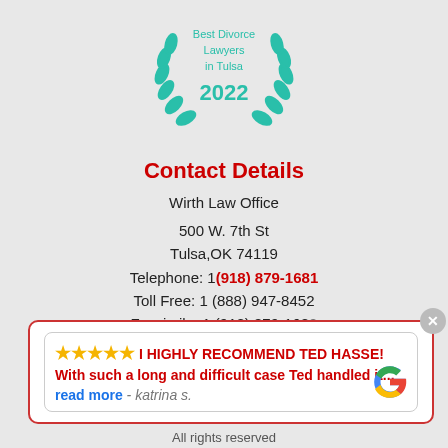[Figure (illustration): Award badge with teal laurel wreath showing 'Best Divorce Lawyers in Tulsa 2022']
Contact Details
Wirth Law Office
500 W. 7th St
Tulsa,OK 74119
Telephone: 1(918) 879-1681
Toll Free: 1 (888) 947-8452
Facsimile: 1 (918) 879-1682
[Figure (screenshot): Google review overlay with 5 stars: 'I HIGHLY RECOMMEND TED HASSE! With such a long and difficult case Ted handled it... read more - katrina s.' with Google logo]
All rights reserved